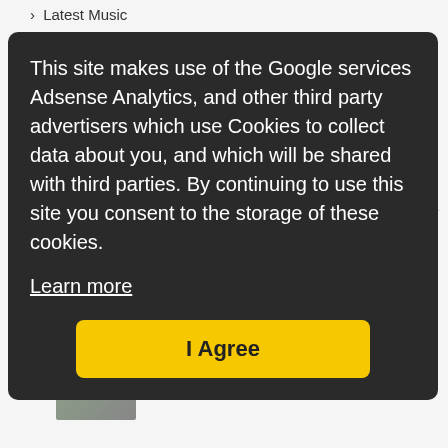> Latest Music
Latest Trainer
Dying Light 2 Stay Human Trainer
God of War Trainer
JAN 4, 2022
Far Cry 6 Trainer
JAN 1, 2022
This site makes use of the Google services Adsense Analytics, and other third party advertisers which use Cookies to collect data about you, and which will be shared with third parties. By continuing to use this site you consent to the storage of these cookies.
Learn more
I Agree